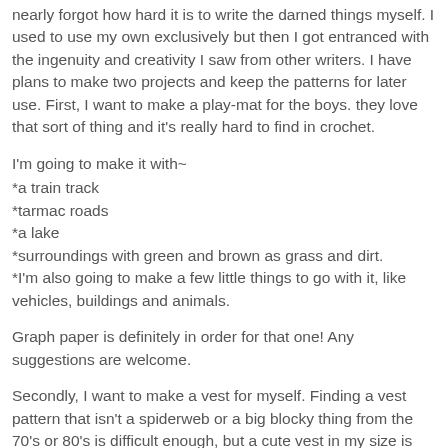nearly forgot how hard it is to write the darned things myself. I used to use my own exclusively but then I got entranced with the ingenuity and creativity I saw from other writers. I have plans to make two projects and keep the patterns for later use. First, I want to make a play-mat for the boys. they love that sort of thing and it's really hard to find in crochet.
I'm going to make it with~
*a train track
*tarmac roads
*a lake
*surroundings with green and brown as grass and dirt.
*I'm also going to make a few little things to go with it, like vehicles, buildings and animals.
Graph paper is definitely in order for that one! Any suggestions are welcome.
Secondly, I want to make a vest for myself. Finding a vest pattern that isn't a spiderweb or a big blocky thing from the 70's or 80's is difficult enough, but a cute vest in my size is nearly impossible. I did find a few, but they're not really my